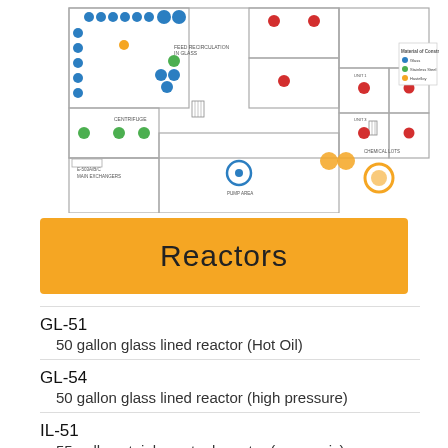[Figure (engineering-diagram): Facility floor plan showing equipment layout with colored dots indicating material of construction: blue (glass), green (stainless steel), orange (Hastelloy), and red dots on various reactor equipment rooms and areas.]
Reactors
GL-51
50 gallon glass lined reactor (Hot Oil)
GL-54
50 gallon glass lined reactor (high pressure)
IL-51
55 gallon stainless steel reactor (cryogenic)